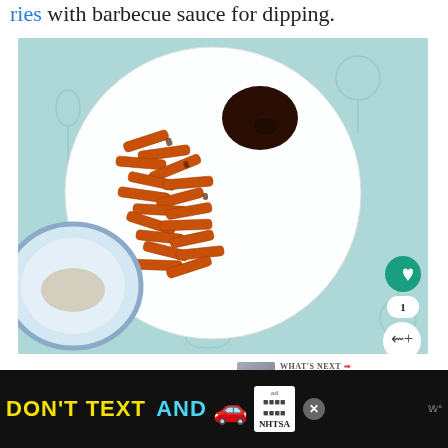ries with barbecue sauce for dipping.
[Figure (photo): A white round plate with sweet potato fries and a dark barbecue dipping sauce, on a light teal patterned background. A decorative blue-and-white plate is partially visible at lower left. Heart and share UI overlay buttons visible at lower right of image.]
WHAT'S NEXT → I'm as Surprised as...
After lunch, I finished off the Biscoff Spread,
wh...
de... Break: Ap
[Figure (infographic): Advertisement banner: DON'T TEXT AND [car emoji] with ad badge and NHTSA logo on black background, with X close button.]